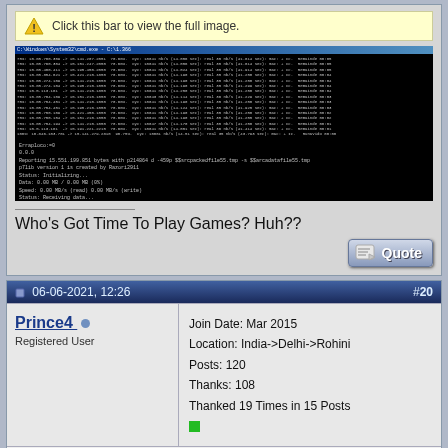[Figure (screenshot): Warning bar reading 'Click this bar to view the full image.' followed by a terminal/command prompt screenshot showing network transfer data with percentages, IPs, speeds, and a status section at the bottom showing p7lib output.]
Who's Got Time To Play Games? Huh??
[Figure (other): Quote button with pencil/paper icon]
06-06-2021, 12:26  #20
Prince4
Registered User
Join Date: Mar 2015
Location: India->Delhi->Rohini
Posts: 120
Thanks: 108
Thanked 19 Times in 15 Posts
Quote: